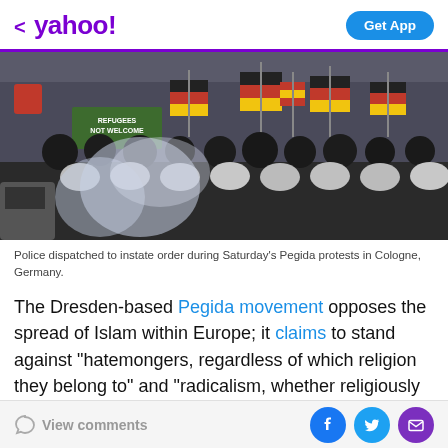< yahoo!   Get App
[Figure (photo): Crowd of protesters waving German and Spanish flags at a Pegida rally in Cologne, Germany. Police in riot gear visible in foreground with smoke/gas. Banner reads 'Refugees Not Welcome'.]
Police dispatched to instate order during Saturday's Pegida protests in Cologne, Germany.
The Dresden-based Pegida movement opposes the spread of Islam within Europe; it claims to stand against "hatemongers, regardless of which religion they belong to" and "radicalism, whether religiously or politically
View comments